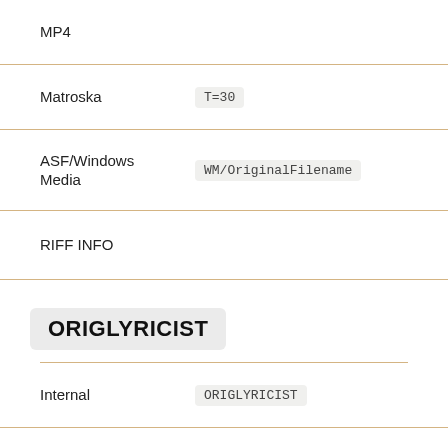MP4
Matroska
ASF/Windows Media
RIFF INFO
ORIGLYRICIST
Internal
ID3v2.3